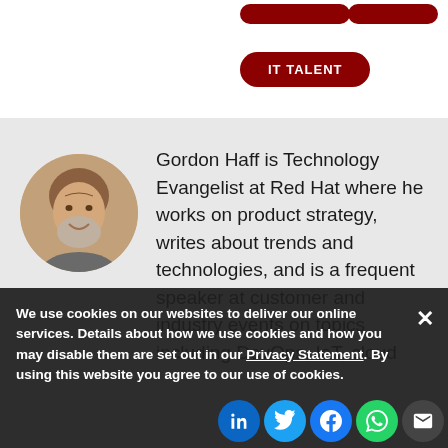[Figure (other): Dark red pill-shaped buttons (partially visible at top)]
IT TALENT
[Figure (photo): Circular headshot photo of Gordon Haff, a middle-aged man with gray hair and beard, smiling]
Gordon Haff is Technology Evangelist at Red Hat where he works on product strategy, writes about trends and technologies, and is a frequent speaker at customer and industry events on topics including DevOps, IoT, cloud
We use cookies on our websites to deliver our online services. Details about how we use cookies and how you may disable them are set out in our Privacy Statement. By using this website you agree to our use of cookies.